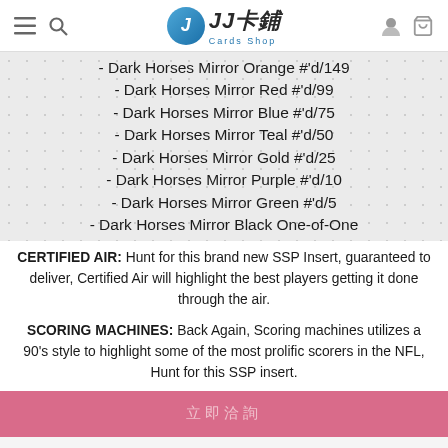JJ Cards Shop
- Dark Horses Mirror Orange #'d/149
- Dark Horses Mirror Red #'d/99
- Dark Horses Mirror Blue #'d/75
- Dark Horses Mirror Teal #'d/50
- Dark Horses Mirror Gold #'d/25
- Dark Horses Mirror Purple #'d/10
- Dark Horses Mirror Green #'d/5
- Dark Horses Mirror Black One-of-One
CERTIFIED AIR: Hunt for this brand new SSP Insert, guaranteed to deliver, Certified Air will highlight the best players getting it done through the air.
SCORING MACHINES: Back Again, Scoring machines utilizes a 90's style to highlight some of the most prolific scorers in the NFL, Hunt for this SSP insert.
立即洽詢